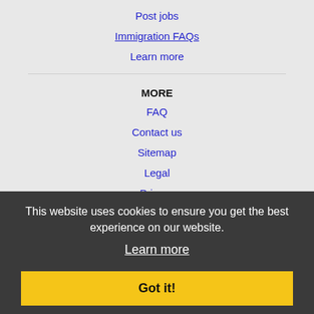Post jobs
Immigration FAQs
Learn more
MORE
FAQ
Contact us
Sitemap
Legal
Privacy
NEARBY CITIES
Bakersfield, CA Jobs
Camarillo, CA Jobs
Oxnard, CA Jobs
San Luis Obispo, CA Jobs
Santa Barbara, CA Jobs
This website uses cookies to ensure you get the best experience on our website.
Learn more
Got it!